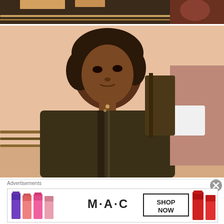[Figure (photo): Top portion of a photograph showing partial figures, chairs, and warm indoor lighting with brown/dark tones]
[Figure (photo): Main photograph of a woman with short dark hair looking upward, wearing a dark sweater/cardigan with striped detail, seated in what appears to be a bus or vehicle. Another person visible on the right side. Warm sepia/orange tones.]
[Figure (photo): Partial bottom of another photograph with reddish-brown tones]
Advertisements
[Figure (photo): MAC Cosmetics advertisement banner showing lipsticks in purple, pink, and red colors with M·A·C logo and 'SHOP NOW' text in a box]